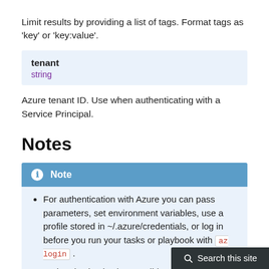Limit results by providing a list of tags. Format tags as 'key' or 'key:value'.
tenant
string
Azure tenant ID. Use when authenticating with a Service Principal.
Notes
ℹ Note
For authentication with Azure you can pass parameters, set environment variables, use a profile stored in ~/.azure/credentials, or log in before you run your tasks or playbook with az login .
Authentication is also possible using a service principal or Active Directory user.